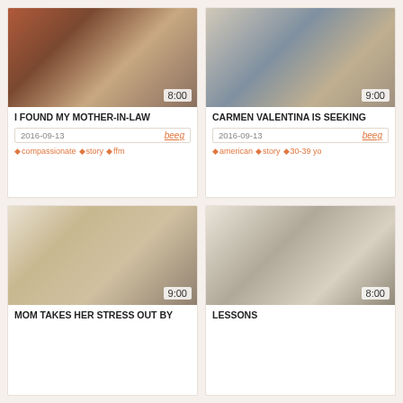[Figure (photo): Video thumbnail showing two people indoors, duration 8:00]
I FOUND MY MOTHER-IN-LAW
2016-09-13   beeg
compassionate  story  ffm
[Figure (photo): Video thumbnail showing man and woman on couch, duration 9:00]
CARMEN VALENTINA IS SEEKING
2016-09-13   beeg
american  story  30-39 yo
[Figure (photo): Video thumbnail showing blonde woman at table, duration 9:00]
MOM TAKES HER STRESS OUT BY
[Figure (photo): Video thumbnail showing people on couch, duration 8:00]
LESSONS